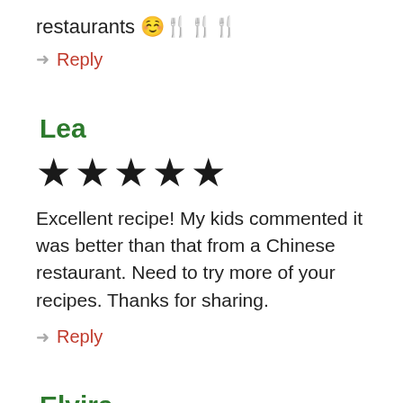restaurants 😊🍴🍴🍴
Reply
Lea
[Figure (other): 5 filled black stars rating]
Excellent recipe! My kids commented it was better than that from a Chinese restaurant. Need to try more of your recipes. Thanks for sharing.
Reply
Elvira
[Figure (other): 5 filled black stars rating (partially visible)]